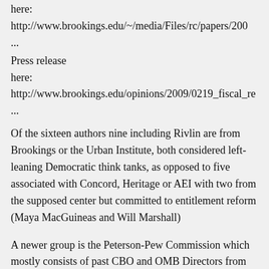here: http://www.brookings.edu/~/media/Files/rc/papers/2008...
Press release here: http://www.brookings.edu/opinions/2009/0219_fiscal_re...
Of the sixteen authors nine including Rivlin are from Brookings or the Urban Institute, both considered left-leaning Democratic think tanks, as opposed to five associated with Concord, Heritage or AEI with two from the supposed center but committed to entitlement reform (Maya MacGuineas and Will Marshall)
A newer group is the Peterson-Pew Commission which mostly consists of past CBO and OMB Directors from both parties. Its report is called “Red Ink Rising”  http://budgetreform.org/document/red-ink-rising  Rivlin is a signatory here as well, having been both.